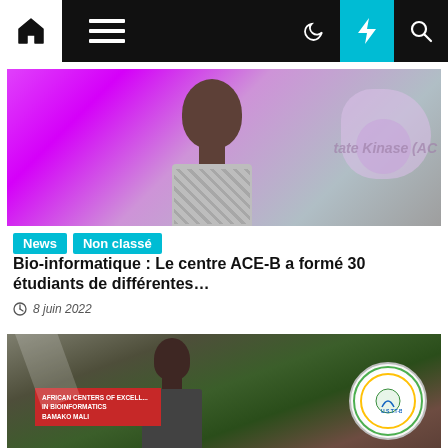[Figure (screenshot): Website navigation bar with home icon, hamburger menu, moon icon, lightning bolt (cyan background), and search icon on dark background]
[Figure (photo): Photo of a young woman in a patterned outfit against a pink/purple background with bokeh effects. Tags 'News' and 'Non classé' overlaid in cyan. Partial text 'tate Kinase (AC' visible at right.]
News
Non classé
Bio-informatique : Le centre ACE-B a formé 30 étudiants de différentes…
8 juin 2022
[Figure (photo): Photo of a man speaking outdoors near a sign reading 'AFRICAN CENTERS OF EXCELLENCE IN BIOINFORMATICS BAMAKO MALI' and a circular USTB logo badge on the right.]